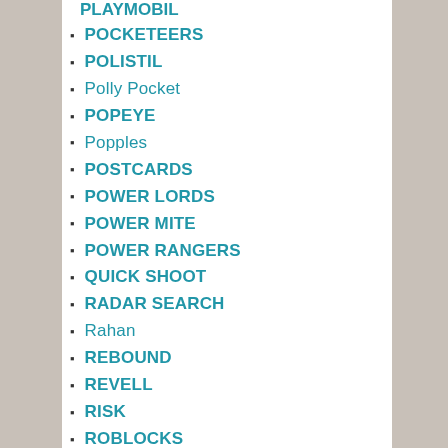PLAYMOBIL (partial)
POCKETEERS
POLISTIL
Polly Pocket
POPEYE
Popples
POSTCARDS
POWER LORDS
POWER MITE
POWER RANGERS
QUICK SHOOT
RADAR SEARCH
Rahan
REBOUND
REVELL
RISK
ROBLOCKS
ROBO MACHINES
ROBOTIX
ROBOTS
ROLE PLAYING GAMES
ROLLER-SIDE